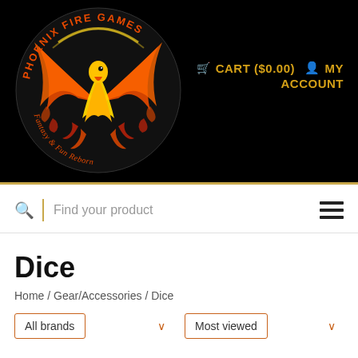[Figure (logo): Phoenix Fire Games logo — flaming phoenix bird in red, orange, and yellow on a black circular background with text 'PHOENIX FIRE GAMES Fantasy & Fun Reborn']
🛒 CART ($0.00)  👤 MY ACCOUNT
Find your product
Dice
Home / Gear/Accessories / Dice
All brands
Most viewed